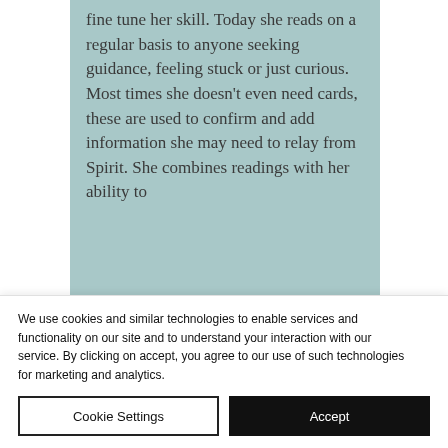fine tune her skill.  Today she reads on a regular basis to anyone seeking guidance, feeling stuck or just curious.  Most times she doesn't even need cards, these are used to confirm and add information she may need to relay from Spirit.  She combines readings with her ability to
We use cookies and similar technologies to enable services and functionality on our site and to understand your interaction with our service. By clicking on accept, you agree to our use of such technologies for marketing and analytics.
Cookie Settings
Accept